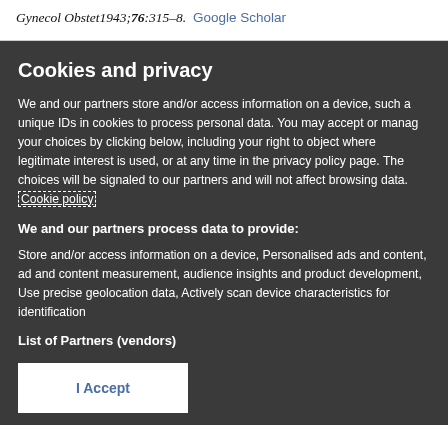Gynecol Obstet 1943;76:315–8. Google Scholar
Cookies and privacy
We and our partners store and/or access information on a device, such as unique IDs in cookies to process personal data. You may accept or manage your choices by clicking below, including your right to object where legitimate interest is used, or at any time in the privacy policy page. These choices will be signaled to our partners and will not affect browsing data. Cookie policy
We and our partners process data to provide:
Store and/or access information on a device, Personalised ads and content, ad and content measurement, audience insights and product development, Use precise geolocation data, Actively scan device characteristics for identification
List of Partners (vendors)
I Accept